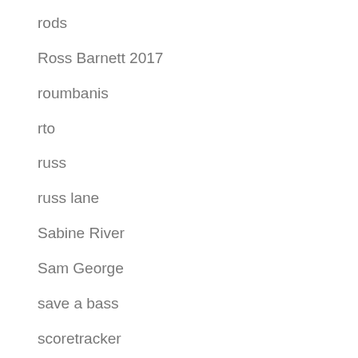rods
Ross Barnett 2017
roumbanis
rto
russ
russ lane
Sabine River
Sam George
save a bass
scoretracker
screw pointer
screwpointer